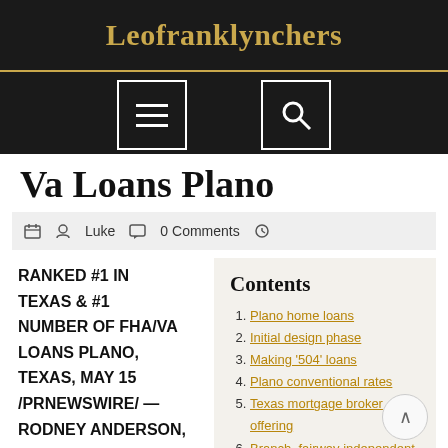Leofranklynchers
Va Loans Plano
Luke  0 Comments
RANKED #1 IN TEXAS & #1 NUMBER OF FHA/VA LOANS PLANO, Texas, May 15 /PRNewswire/ — Rodney Anderson,
Contents
Plano home loans
Initial design phase
Making '504' loans
Plano conventional rates
Texas mortgage broker offering
Branch. fairway independent